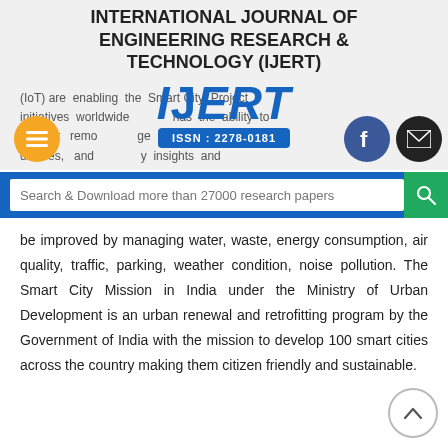INTERNATIONAL JOURNAL OF ENGINEERING RESEARCH & TECHNOLOGY (IJERT)
[Figure (logo): IJERT logo with ISSN: 2278-0181]
(IoT) are enabling the Smart City Project initiatives worldwide has the ability to monitor remotely manage and control devices, and provide key insights and
Search & Download more than 27000 research papers
be improved by managing water, waste, energy consumption, air quality, traffic, parking, weather condition, noise pollution. The Smart City Mission in India under the Ministry of Urban Development is an urban renewal and retrofitting program by the Government of India with the mission to develop 100 smart cities across the country making them citizen friendly and sustainable.